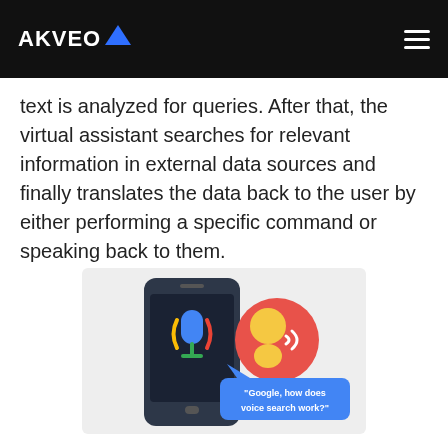AKVEO
text is analyzed for queries. After that, the virtual assistant searches for relevant information in external data sources and finally translates the data back to the user by either performing a specific command or speaking back to them.
[Figure (illustration): Illustration of a smartphone with a Google-style microphone icon and a person speaking into a device, with a speech bubble reading 'Google, how does voice search work?']